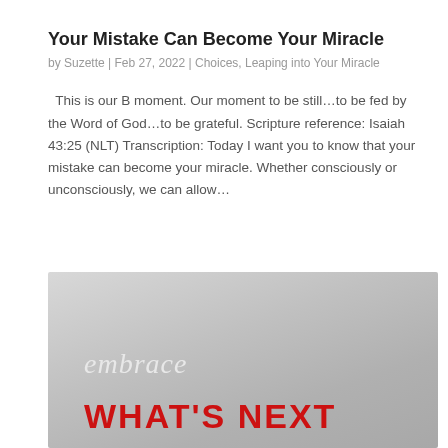Your Mistake Can Become Your Miracle
by Suzette | Feb 27, 2022 | Choices, Leaping into Your Miracle
This is our B moment. Our moment to be still…to be fed by the Word of God…to be grateful. Scripture reference: Isaiah 43:25 (NLT) Transcription: Today I want you to know that your mistake can become your miracle. Whether consciously or unconsciously, we can allow…
[Figure (photo): A gray gradient background image with white italic text reading 'embrace' and bold red text reading 'WHAT'S NEXT']